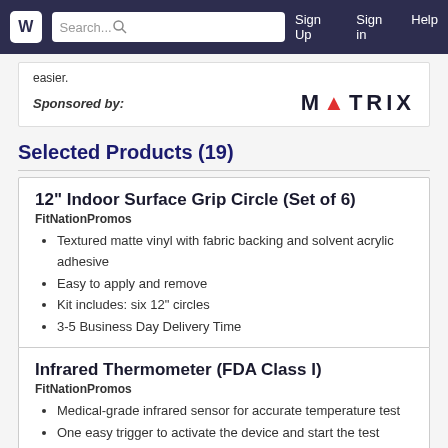W  Search...  Sign Up  Sign in  Help
easier.
Sponsored by:  MATRIX
Selected Products (19)
12" Indoor Surface Grip Circle (Set of 6)
FitNationPromos
Textured matte vinyl with fabric backing and solvent acrylic adhesive
Easy to apply and remove
Kit includes: six 12" circles
3-5 Business Day Delivery Time
Infrared Thermometer (FDA Class I)
FitNationPromos
Medical-grade infrared sensor for accurate temperature test
One easy trigger to activate the device and start the test
Tests temperature within 1 second
Batteries are not included (AAA batteries x2)